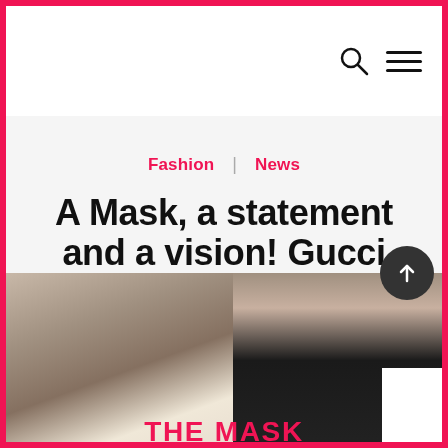Fashion | News
A Mask, a statement and a vision! Gucci Manifesto Collection
30 July 2019  |  Zeynep Şahin
[Figure (photo): Fashion photo showing a model from behind wearing a white jacket with 'THE MASK' printed in red on the back, and another model with curly red hair wearing black outfit with gold earrings]